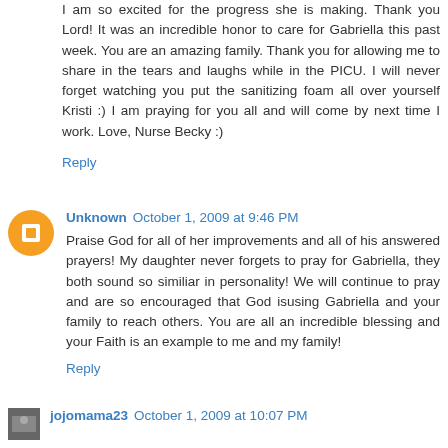I am so excited for the progress she is making. Thank you Lord! It was an incredible honor to care for Gabriella this past week. You are an amazing family. Thank you for allowing me to share in the tears and laughs while in the PICU. I will never forget watching you put the sanitizing foam all over yourself Kristi :) I am praying for you all and will come by next time I work. Love, Nurse Becky :)
Reply
Unknown  October 1, 2009 at 9:46 PM
Praise God for all of her improvements and all of his answered prayers! My daughter never forgets to pray for Gabriella, they both sound so similiar in personality! We will continue to pray and are so encouraged that God isusing Gabriella and your family to reach others. You are all an incredible blessing and your Faith is an example to me and my family!
Reply
jojomama23  October 1, 2009 at 10:07 PM